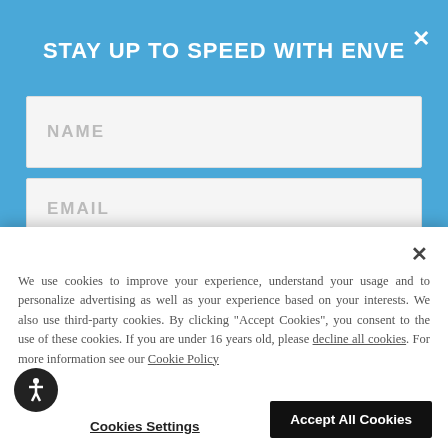STAY UP TO SPEED WITH ENVE
[Figure (screenshot): NAME input field placeholder text on light gray background]
[Figure (screenshot): EMAIL input field placeholder text on light gray background]
We use cookies to improve your experience, understand your usage and to personalize advertising as well as your experience based on your interests. We also use third-party cookies. By clicking "Accept Cookies", you consent to the use of these cookies. If you are under 16 years old, please decline all cookies. For more information see our Cookie Policy
Cookies Settings
Accept All Cookies